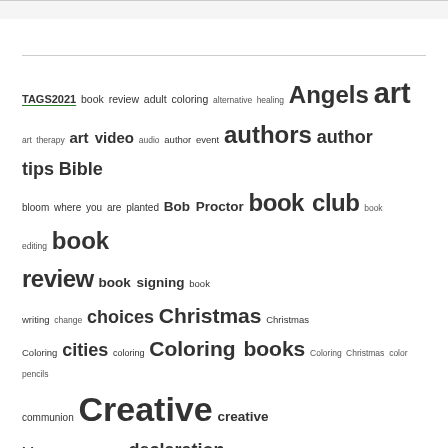[Figure (other): Tag cloud with various topic tags in different font sizes representing a blog or website tag index]